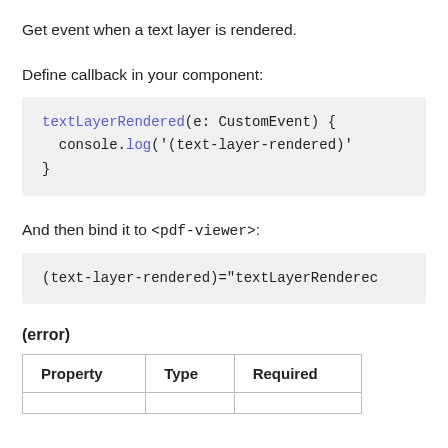Get event when a text layer is rendered.
Define callback in your component:
textLayerRendered(e: CustomEvent) {
  console.log('(text-layer-rendered)'
}
And then bind it to <pdf-viewer>:
(text-layer-rendered)="textLayerRenderec
(error)
| Property | Type | Required |
| --- | --- | --- |